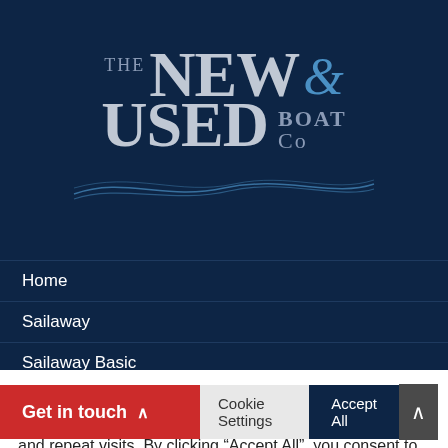[Figure (logo): The New & Used Boat Co logo with wave graphic on dark navy background]
Home
Sailaway
Sailaway Basic
We use cookies on our website to give you the most relevant experience by remembering your preferences and repeat visits. By clicking “Accept All”, you consent to the use of ALL the cookies. However, you may visit "Cookie Settings" to provide a controlled consent.
Get in touch
Cookie Settings
Accept All